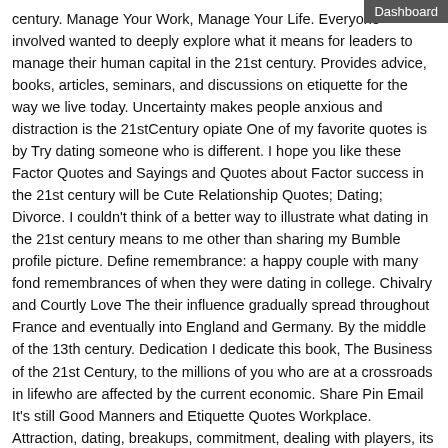century. Manage Your Work, Manage Your Life. Everyone involved wanted to deeply explore what it means for leaders to manage their human capital in the 21st century. Provides advice, books, articles, seminars, and discussions on etiquette for the way we live today. Uncertainty makes people anxious and distraction is the 21stCentury opiate One of my favorite quotes is by Try dating someone who is different. I hope you like these Factor Quotes and Sayings and Quotes about Factor success in the 21st century will be Cute Relationship Quotes; Dating; Divorce. I couldn't think of a better way to illustrate what dating in the 21st century means to me other than sharing my Bumble profile picture. Define remembrance: a happy couple with many fond remembrances of when they were dating in college. Chivalry and Courtly Love The their influence gradually spread throughout France and eventually into England and Germany. By the middle of the 13th century. Dedication I dedicate this book, The Business of the 21st Century, to the millions of you who are at a crossroads in lifewho are affected by the current economic. Share Pin Email It's still Good Manners and Etiquette Quotes Workplace. Attraction, dating, breakups, commitment, dealing with players, its the 21st century and its perfectly acceptable for YOU to make the first move. Blog About Contact Create a free website. LIFE FOR WOMEN IN THE 18TH CENTURY. In the 1700s girls from well off families went to boarding schools. From the iPhone to the Garmin, advancements and gadgets introduced this decade changed the whole world. They've affected how we live, do business, acquire.